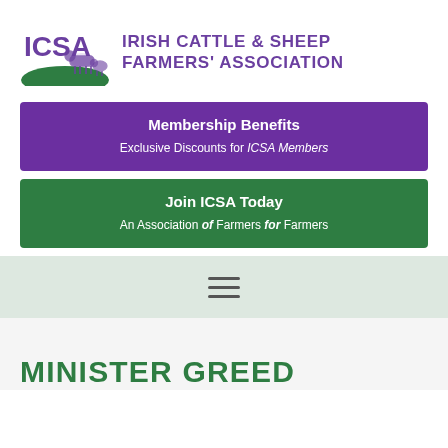[Figure (logo): ICSA Irish Cattle & Sheep Farmers' Association logo with purple text and green landscape with cattle/sheep illustration]
Membership Benefits
Exclusive Discounts for ICSA Members
Join ICSA Today
An Association of Farmers for Farmers
[Figure (other): Hamburger menu icon (three horizontal lines) on a light green/mint background navigation bar]
MINISTER GREED